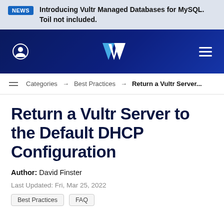NEWS  Introducing Vultr Managed Databases for MySQL. Toil not included.
[Figure (logo): Vultr navigation bar with user icon, Vultr logo, and hamburger menu on dark blue background]
Categories → Best Practices → Return a Vultr Server...
Return a Vultr Server to the Default DHCP Configuration
Author: David Finster
Last Updated: Fri, Mar 25, 2022
Best Practices  FAQ